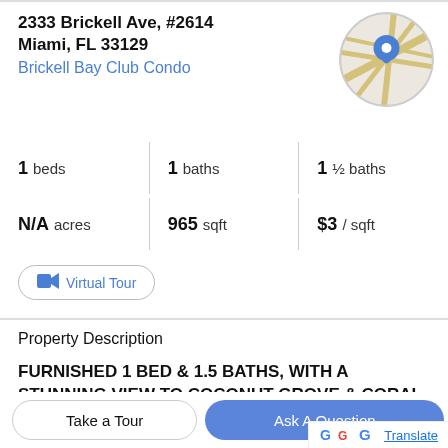2333 Brickell Ave, #2614
Miami, FL 33129
Brickell Bay Club Condo
[Figure (map): Circular map thumbnail showing street map with blue location pin marker]
1 beds | 1 baths | 1 ½ baths
N/A acres | 965 sqft | $3 / sqft
Virtual Tour
Property Description
FURNISHED 1 BED & 1.5 BATHS, WITH A STUNNING VIEW TO COCONUT GROVE & CORAL GABLES. WOOD FLOORS THROUGHT UNIT, CARPET IN
BEDROOM, WASHER & DRYER INSIDE UNIT,
Take a Tour
Ask A Question
Translate